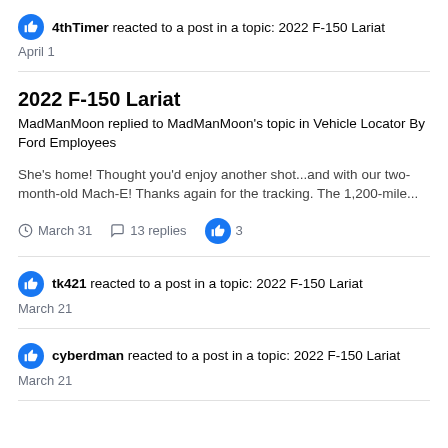4thTimer reacted to a post in a topic: 2022 F-150 Lariat
April 1
2022 F-150 Lariat
MadManMoon replied to MadManMoon's topic in Vehicle Locator By Ford Employees
She's home! Thought you'd enjoy another shot...and with our two-month-old Mach-E! Thanks again for the tracking. The 1,200-mile...
March 31   13 replies   3
tk421 reacted to a post in a topic: 2022 F-150 Lariat
March 21
cyberdman reacted to a post in a topic: 2022 F-150 Lariat
March 21